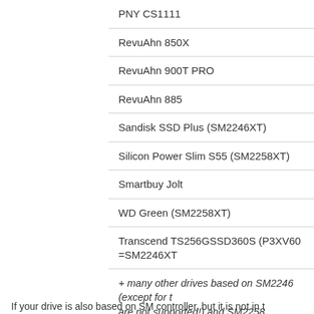| PNY CS1111 |
| RevuAhn 850X |
| RevuAhn 900T PRO |
| RevuAhn 885 |
| Sandisk SSD Plus (SM2246XT) |
| Silicon Power Slim S55 (SM2258XT) |
| Smartbuy Jolt |
| WD Green (SM2258XT) |
| Transcend TS256GSSD360S (P3XV60 =SM2246XT |
| + many other drives based on SM2246 (except for t are not supported!) and SM2258 |
If your drive is also based on SM controller, but it is not in t